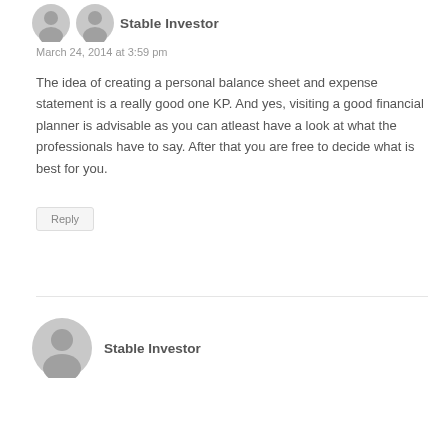[Figure (illustration): Two small grey avatar/profile icons side by side at top left]
Stable Investor
March 24, 2014 at 3:59 pm
The idea of creating a personal balance sheet and expense statement is a really good one KP. And yes, visiting a good financial planner is advisable as you can atleast have a look at what the professionals have to say. After that you are free to decide what is best for you.
Reply
[Figure (illustration): Large grey avatar/profile icon for second comment]
Stable Investor